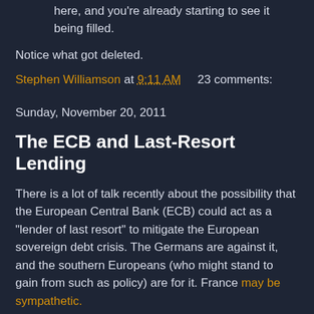here, and you're already starting to see it being filled.
Notice what got deleted.
Stephen Williamson at 9:11 AM     23 comments:
Sunday, November 20, 2011
The ECB and Last-Resort Lending
There is a lot of talk recently about the possibility that the European Central Bank (ECB) could act as a "lender of last resort" to mitigate the European sovereign debt crisis. The Germans are against it, and the southern Europeans (who might stand to gain from such as policy) are for it. France may be sympathetic.
What is a lender of last resort? A key role for a central bank of course, is in acting as a lender-of-last-resort to the private banking system. The conventional view of banking is that the key function of banks - transforming illiquid assets into liquid